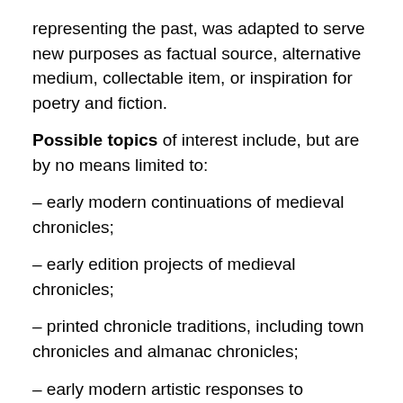representing the past, was adapted to serve new purposes as factual source, alternative medium, collectable item, or inspiration for poetry and fiction.
Possible topics of interest include, but are by no means limited to:
– early modern continuations of medieval chronicles;
– early edition projects of medieval chronicles;
– printed chronicle traditions, including town chronicles and almanac chronicles;
– early modern artistic responses to medieval chronicles;
– use of material from medieval chronicles in different contexts, such as drama, political discourse, architecture, painting;